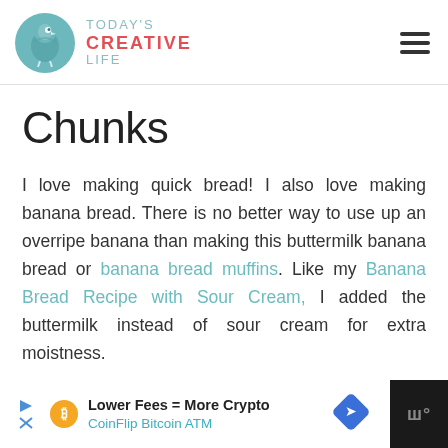TODAY'S CREATIVE LIFE
Chunks
I love making quick bread! I also love making banana bread. There is no better way to use up an overripe banana than making this buttermilk banana bread or banana bread muffins. Like my Banana Bread Recipe with Sour Cream, I added the buttermilk instead of sour cream for extra moistness.
[Figure (other): Advertisement banner: Lower Fees = More Crypto, CoinFlip Bitcoin ATM]